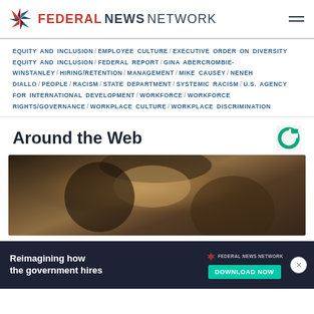FEDERAL NEWS NETWORK
EQUITY AND INCLUSION / EMPLOYEE CULTURE / EXECUTIVE ORDER ON DIVERSITY EQUITY AND INCLUSION / FEDERAL REPORT / GINA ABERCROMBIE-WINSTANLEY / HIRING/RETENTION / MANAGEMENT / MIKE CAUSEY / NENEH DIALLO / PEOPLE / RACISM / STATE DEPARTMENT / SYSTEMIC RACISM / U.S. AGENCY FOR INTERNATIONAL DEVELOPMENT / WORKFORCE / WORKFORCE RIGHTS/GOVERNANCE / WORKPLACE CULTURE / WORKPLACE DISCRIMINATION
Around the Web
[Figure (photo): Close-up photo of a person's face, partially lit, dark background]
[Figure (infographic): Advertisement banner: Reimagining how the government hires - Federal News Network - DOWNLOAD NOW button]